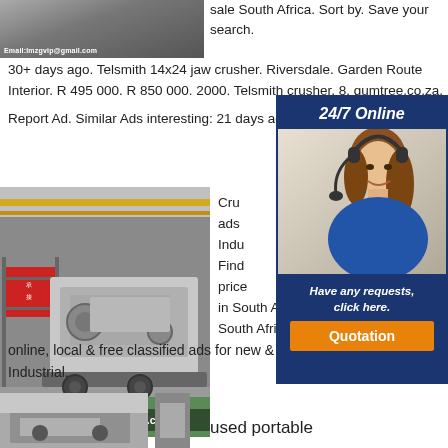[Figure (photo): Top partial industrial/warehouse image with email address overlay]
sale South Africa. Sort by. Save your search.
30+ days ago. Telsmith 14x24 jaw crusher. Riversdale. Garden Route Interior. R 495 000. R 850 000. 2000. Telsmith crusher. 8. gumtree.co.za. Report Ad. Similar Ads interesting: 21 days ago. Crusher screen r450,000
[Figure (photo): Industrial crusher machine in warehouse with email overlay: Email:lmzgvip@gmail.com]
Crusher ads for sale South Africa OLX South Africa offers online, local & free classified ads for new & second hand Farming & Industrial.
[Figure (infographic): 24/7 Online customer service ad overlay with woman wearing headset, Have any requests, click here. Quotation button]
[Figure (photo): Bottom left partial industrial machinery image]
used portable